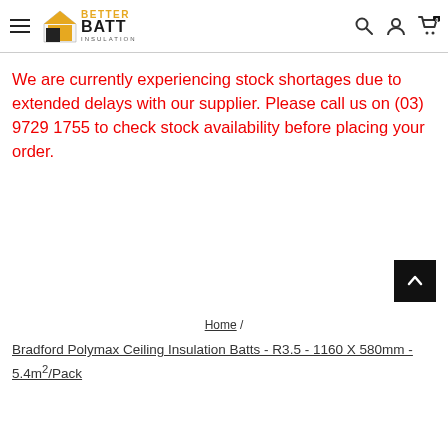Better Batt Insulation
We are currently experiencing stock shortages due to extended delays with our supplier. Please call us on (03) 9729 1755 to check stock availability before placing your order.
Home / Bradford Polymax Ceiling Insulation Batts - R3.5 - 1160 X 580mm - 5.4m²/Pack